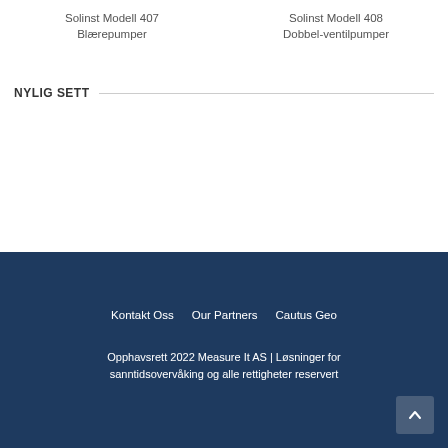Solinst Modell 407 Blærepumper
Solinst Modell 408 Dobbel-ventilpumper
NYLIG SETT
Kontakt Oss   Our Partners   Cautus Geo
Opphavsrett 2022 Measure It AS | Løsninger for sanntidsovervåking og alle rettigheter reservert